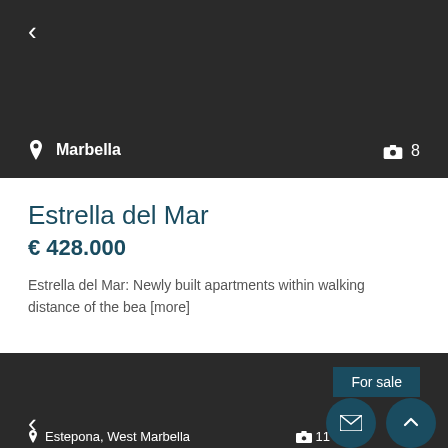< (back arrow)
Marbella
8 (photo count)
Estrella del Mar
€ 428.000
Estrella del Mar: Newly built apartments within walking distance of the bea [more]
details
For sale
< (back arrow)
Estepona, West Marbella
11 (photo count)